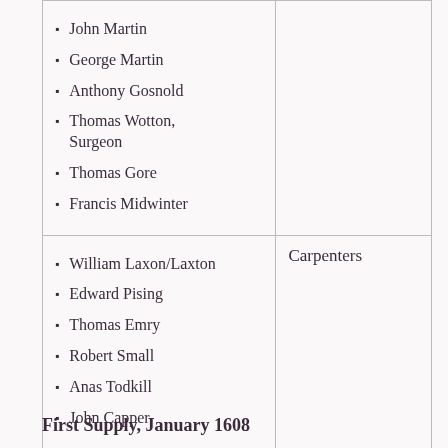| Names | Role |
| --- | --- |
| John Martin
George Martin
Anthony Gosnold
Thomas Wotton, Surgeon
Thomas Gore
Francis Midwinter |  |
| William Laxon/Laxton
Edward Pising
Thomas Emry
Robert Small
Anas Todkill
John Capper | Carpenters |
First Supply, January 1608